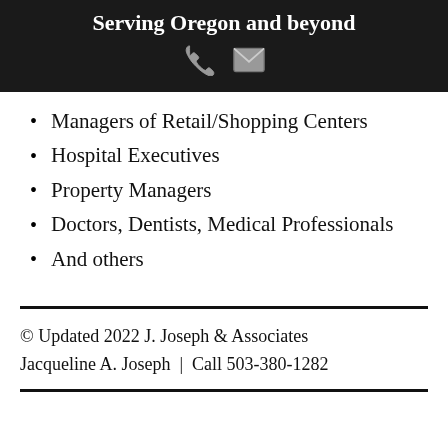Serving Oregon and beyond
Managers of Retail/Shopping Centers
Hospital Executives
Property Managers
Doctors, Dentists, Medical Professionals
And others
© Updated 2022 J. Joseph & Associates
Jacqueline A. Joseph  |  Call 503-380-1282